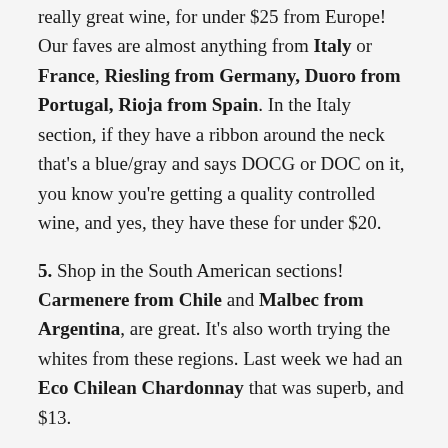really great wine, for under $25 from Europe! Our faves are almost anything from Italy or France, Riesling from Germany, Duoro from Portugal, Rioja from Spain. In the Italy section, if they have a ribbon around the neck that's a blue/gray and says DOCG or DOC on it, you know you're getting a quality controlled wine, and yes, they have these for under $20.
5. Shop in the South American sections! Carmenere from Chile and Malbec from Argentina, are great. It's also worth trying the whites from these regions. Last week we had an Eco Chilean Chardonnay that was superb, and $13.
6. Be willing to take a risk! We had a Boutari from Greece last month that was $18. We were in Greece in 2015, and no wine grabbed us as "the best wine ever."